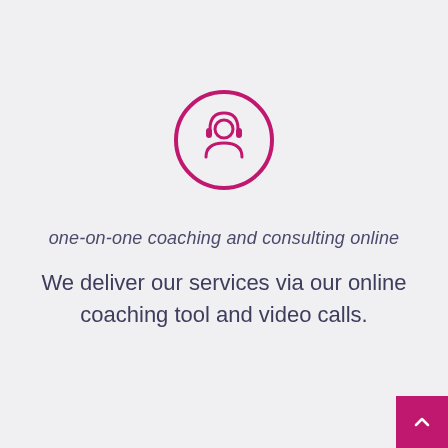[Figure (illustration): Pink outlined circle icon containing a headset/headphone with a person silhouette, representing online coaching or support service]
one-on-one coaching and consulting online
We deliver our services via our online coaching tool and video calls.